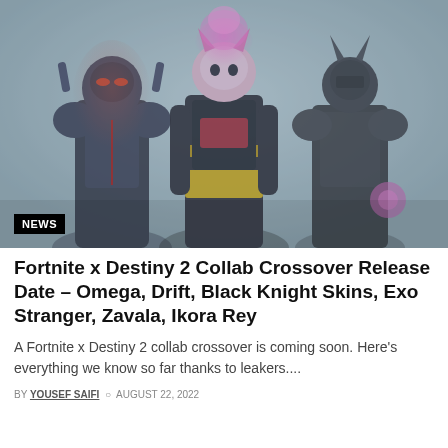[Figure (photo): Three Fortnite characters in dark fantasy armor poses against a grey atmospheric background. Center character has pink glowing cat-like head. Left character wears red-accented black armor. Right character wears dark armor with horns.]
NEWS
Fortnite x Destiny 2 Collab Crossover Release Date – Omega, Drift, Black Knight Skins, Exo Stranger, Zavala, Ikora Rey
A Fortnite x Destiny 2 collab crossover is coming soon. Here's everything we know so far thanks to leakers....
BY YOUSEF SAIFI  AUGUST 22, 2022